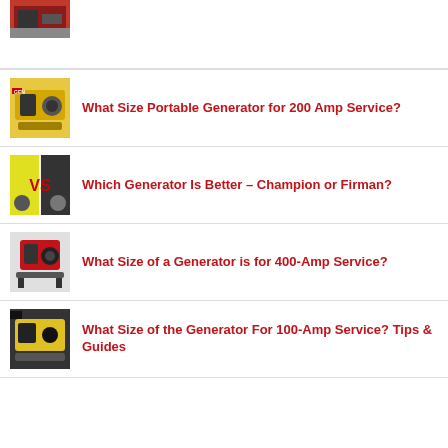[Figure (photo): Partial view of a generator thumbnail at top of page]
What Size Portable Generator for 200 Amp Service?
Which Generator Is Better – Champion or Firman?
What Size of a Generator is for 400-Amp Service?
What Size of the Generator For 100-Amp Service? Tips & Guides